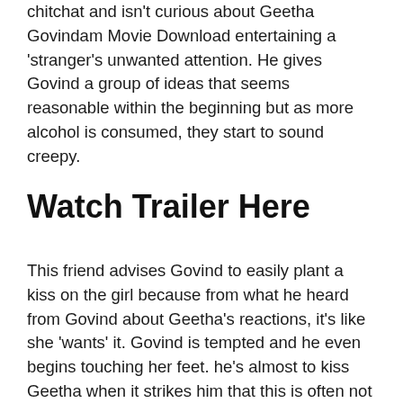chitchat and isn't curious about Geetha Govindam Movie Download entertaining a 'stranger's unwanted attention. He gives Govind a group of ideas that seems reasonable within the beginning but as more alcohol is consumed, they start to sound creepy.
Watch Trailer Here
This friend advises Govind to easily plant a kiss on the girl because from what he heard from Govind about Geetha's reactions, it's like she 'wants' it. Govind is tempted and he even begins touching her feet. he's almost to kiss Geetha when it strikes him that this is often not right. At now, you breathe a sigh of relief, and yet you're disgusted that the